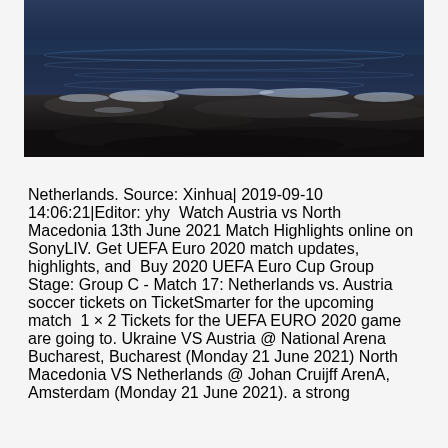[Figure (photo): Close-up photograph of dark rocky shoreline with water ripples and white sea foam, dark blue-grey tones]
Netherlands. Source: Xinhua| 2019-09-10 14:06:21|Editor: yhy  Watch Austria vs North Macedonia 13th June 2021 Match Highlights online on SonyLIV. Get UEFA Euro 2020 match updates, highlights, and  Buy 2020 UEFA Euro Cup Group Stage: Group C - Match 17: Netherlands vs. Austria soccer tickets on TicketSmarter for the upcoming match  1 × 2 Tickets for the UEFA EURO 2020 game are going to. Ukraine VS Austria @ National Arena Bucharest, Bucharest (Monday 21 June 2021) North Macedonia VS Netherlands @ Johan Cruijff ArenA, Amsterdam (Monday 21 June 2021). a strong